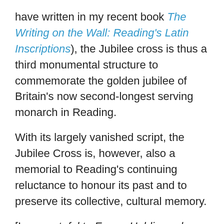have written in my recent book The Writing on the Wall: Reading's Latin Inscriptions), the Jubilee cross is thus a third monumental structure to commemorate the golden jubilee of Britain's now second-longest serving monarch in Reading.
With its largely vanished script, the Jubilee Cross is, however, also a memorial to Reading's continuing reluctance to honour its past and to preserve its collective, cultural memory.
[I am grateful to Emma Holding, who helped me with the decipherment of the inscription.]
Postscriptum. An earlier version of this blog post gave the benefactor's name as Isaac Harrison (rather than Harrinson). I am grateful to David Ford, who also